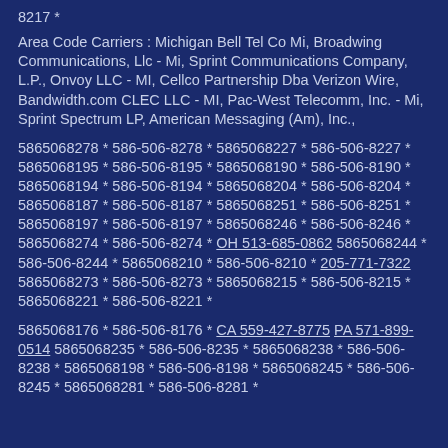8217 *
Area Code Carriers : Michigan Bell Tel Co Mi, Broadwing Communications, Llc - Mi, Sprint Communications Company, L.P., Onvoy LLC - MI, Cellco Partnership Dba Verizon Wire, Bandwidth.com CLEC LLC - MI, Pac-West Telecomm, Inc. - Mi, Sprint Spectrum LP, American Messaging (Am), Inc.,
5865068278 * 586-506-8278 * 5865068227 * 586-506-8227 * 5865068195 * 586-506-8195 * 5865068190 * 586-506-8190 * 5865068194 * 586-506-8194 * 5865068204 * 586-506-8204 * 5865068187 * 586-506-8187 * 5865068251 * 586-506-8251 * 5865068197 * 586-506-8197 * 5865068246 * 586-506-8246 * 5865068274 * 586-506-8274 * OH 513-685-0862 5865068244 * 586-506-8244 * 5865068210 * 586-506-8210 * 205-771-7322 5865068273 * 586-506-8273 * 5865068215 * 586-506-8215 * 5865068221 * 586-506-8221 *
5865068176 * 586-506-8176 * CA 559-427-8775 PA 571-899-0514 5865068235 * 586-506-8235 * 5865068238 * 586-506-8238 * 5865068198 * 586-506-8198 * 5865068245 * 586-506-8245 * 5865068281 * 586-506-8281 *